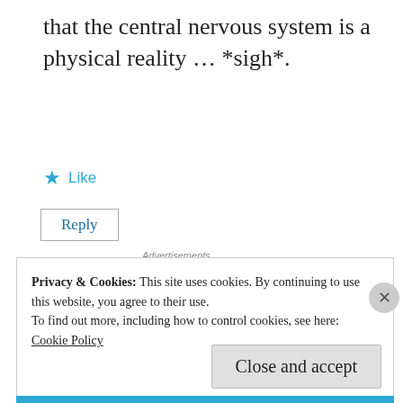that the central nervous system is a physical reality … *sigh*.
★ Like
Reply
Advertisements
[Figure (screenshot): Longreads advertisement box with red circular logo, 'LONGREADS' text, and tagline 'Bringing you the best stories on the web since 2009.']
REPORT THIS AD
Privacy & Cookies: This site uses cookies. By continuing to use this website, you agree to their use.
To find out more, including how to control cookies, see here:
Cookie Policy
Close and accept